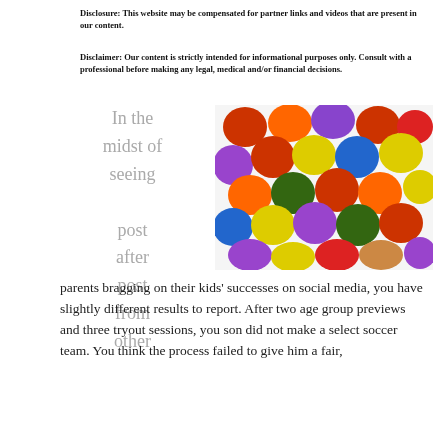Disclosure: This website may be compensated for partner links and videos that are present in our content.
Disclaimer: Our content is strictly intended for informational purposes only. Consult with a professional before making any legal, medical and/or financial decisions.
In the midst of seeing post after post from other
[Figure (photo): Close-up photo of colorful candy-coated chocolates (similar to M&Ms or Smarties) in various colors including red, orange, yellow, green, blue, and purple, scattered on a white background.]
parents bragging on their kids' successes on social media, you have slightly different results to report. After two age group previews and three tryout sessions, you son did not make a select soccer team. You think the process failed to give him a fair,